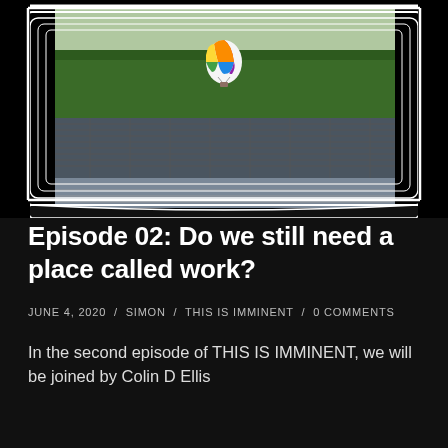[Figure (photo): Aerial photo of Apple Park campus with a colorful hot air balloon visible above the circular building roof, surrounded by green trees. The photo is displayed inside a stylized hand-drawn black frame/border resembling a TV or monitor shape.]
Episode 02: Do we still need a place called work?
JUNE 4, 2020 / SIMON / THIS IS IMMINENT / 0 COMMENTS
In the second episode of THIS IS IMMINENT, we will be joined by Colin D Ellis